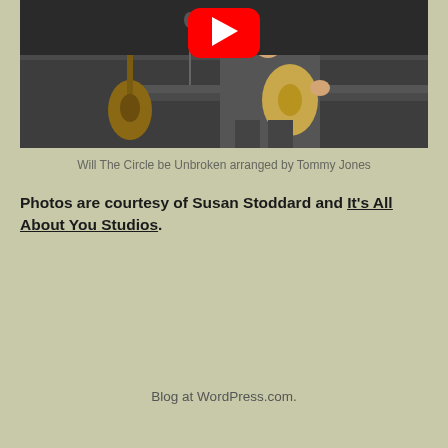[Figure (screenshot): YouTube video thumbnail showing a guitarist seated and playing a classical guitar, with another guitar leaning on a stand to the left, in a church or auditorium setting. A red YouTube play button overlay is visible at the top center.]
Will The Circle be Unbroken arranged by Tommy Jones
Photos are courtesy of Susan Stoddard and It's All About You Studios.
Blog at WordPress.com.